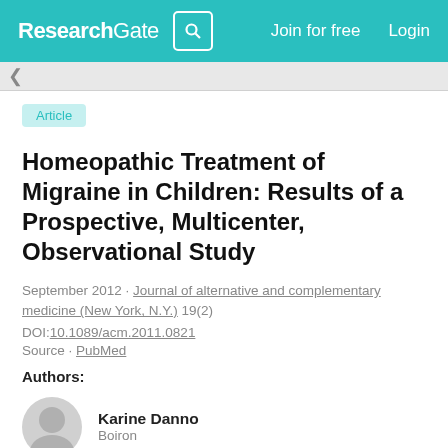ResearchGate  Join for free  Login
Article
Homeopathic Treatment of Migraine in Children: Results of a Prospective, Multicenter, Observational Study
September 2012 · Journal of alternative and complementary medicine (New York, N.Y.) 19(2)
DOI:10.1089/acm.2011.0821
Source · PubMed
Authors:
Karine Danno
Boiron
Aurélie Colas